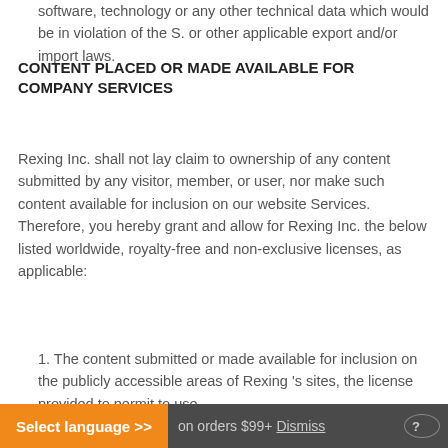software, technology or any other technical data which would be in violation of the S. or other applicable export and/or import laws.
CONTENT PLACED OR MADE AVAILABLE FOR COMPANY SERVICES
Rexing Inc. shall not lay claim to ownership of any content submitted by any visitor, member, or user, nor make such content available for inclusion on our website Services. Therefore, you hereby grant and allow for Rexing Inc. the below listed worldwide, royalty-free and non-exclusive licenses, as applicable:
1. The content submitted or made available for inclusion on the publicly accessible areas of Rexing 's sites, the license provided to permit to use,
Select language >> on orders $99+  Dismiss  ?